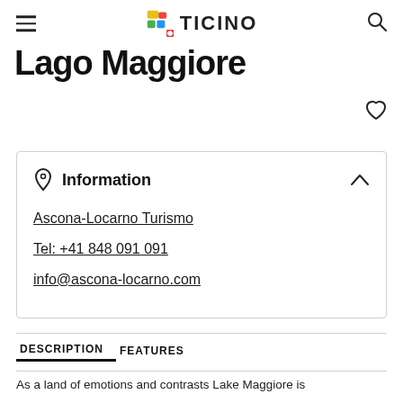≡  TICINO  🔍
Lago Maggiore
Information
Ascona-Locarno Turismo
Tel: +41 848 091 091
info@ascona-locarno.com
DESCRIPTION   FEATURES
As a land of emotions and contrasts Lake Maggiore is